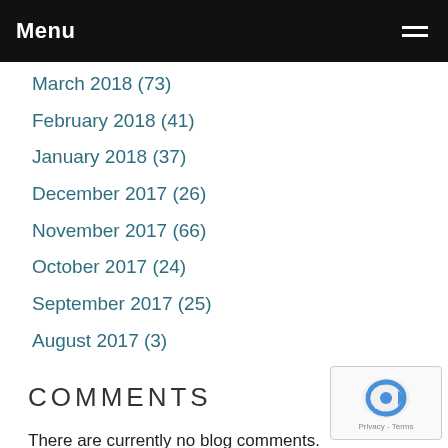Menu
March 2018 (73)
February 2018 (41)
January 2018 (37)
December 2017 (26)
November 2017 (66)
October 2017 (24)
September 2017 (25)
August 2017 (3)
COMMENTS
There are currently no blog comments.